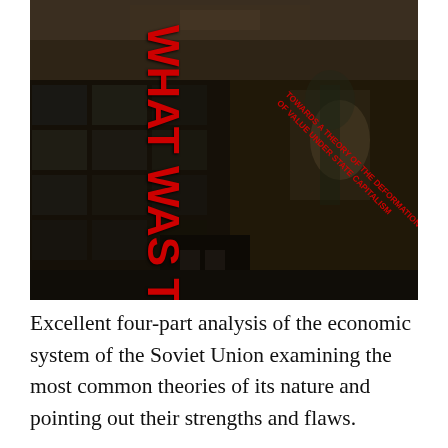[Figure (photo): Dark sepia-toned photograph of a Soviet-era building with large glass windows. Red bold text overlaid diagonally reads 'WHAT WAS THE USSR?' vertically and 'TOWARDS A THEORY OF THE DEFORMATION OF VALUE UNDER STATE CAPITALISM' at an angle.]
Excellent four-part analysis of the economic system of the Soviet Union examining the most common theories of its nature and pointing out their strengths and flaws.